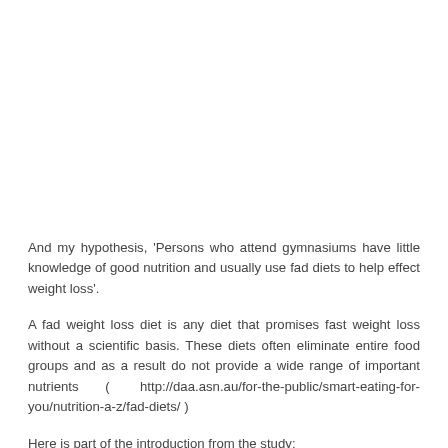And my hypothesis, 'Persons who attend gymnasiums have little knowledge of good nutrition and usually use fad diets to help effect weight loss'.
A fad weight loss diet is any diet that promises fast weight loss without a scientific basis. These diets often eliminate entire food groups and as a result do not provide a wide range of important nutrients ( http://daa.asn.au/for-the-public/smart-eating-for-you/nutrition-a-z/fad-diets/ )
Here is part of the introduction from the study: